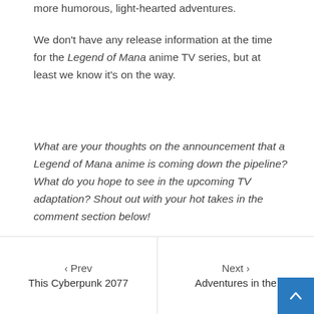more humorous, light-hearted adventures.
We don't have any release information at the time for the Legend of Mana anime TV series, but at least we know it's on the way.
What are your thoughts on the announcement that a Legend of Mana anime is coming down the pipeline? What do you hope to see in the upcoming TV adaptation? Shout out with your hot takes in the comment section below!
Posted in Entertainment
< Prev  This Cyberpunk 2077  |  Next >  Adventures in the